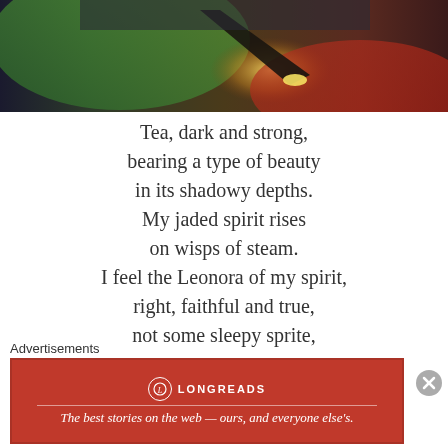[Figure (photo): Close-up photo of a pencil or pen tip illuminated with colorful light — green, yellow, orange, red — against a dark background]
Tea, dark and strong,
bearing a type of beauty
in its shadowy depths.
My jaded spirit rises
on wisps of steam.
I feel the Leonora of my spirit,
right, faithful and true,
not some sleepy sprite,
Advertisements
[Figure (other): Longreads advertisement banner — red background with Longreads logo and tagline: The best stories on the web — ours, and everyone else's.]